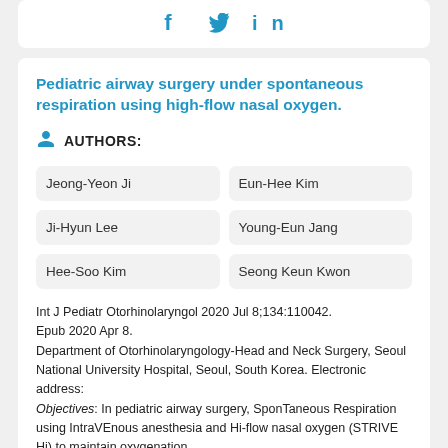[Figure (other): Social media share icons: Facebook (f), Twitter (bird), LinkedIn (in) in blue]
Pediatric airway surgery under spontaneous respiration using high-flow nasal oxygen.
AUTHORS:
Jeong-Yeon Ji
Eun-Hee Kim
Ji-Hyun Lee
Young-Eun Jang
Hee-Soo Kim
Seong Keun Kwon
Int J Pediatr Otorhinolaryngol 2020 Jul 8;134:110042. Epub 2020 Apr 8. Department of Otorhinolaryngology-Head and Neck Surgery, Seoul National University Hospital, Seoul, South Korea. Electronic address: Objectives: In pediatric airway surgery, SponTaneous Respiration using IntraVEnous anesthesia and Hi-flow nasal oxygen (STRIVE Hi) to maintain oxygenation...